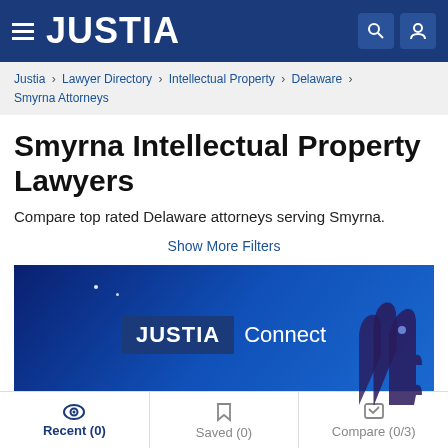JUSTIA
Justia › Lawyer Directory › Intellectual Property › Delaware › Smyrna Attorneys
Smyrna Intellectual Property Lawyers
Compare top rated Delaware attorneys serving Smyrna.
Show More Filters
[Figure (screenshot): JUSTIA Connect banner with blue background and hand graphic]
Recent (0)  Saved (0)  Compare (0/3)